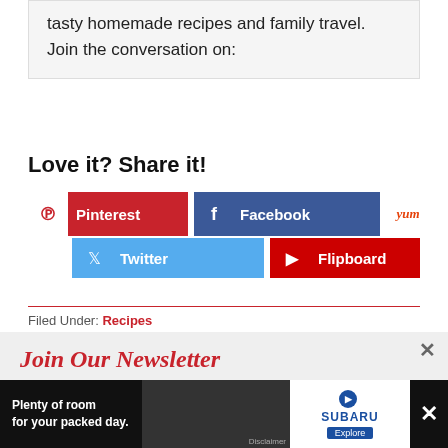tasty homemade recipes and family travel.
Join the conversation on:
Love it? Share it!
[Figure (infographic): Social share buttons: Pinterest, Facebook, Yummly (top row); Twitter, Flipboard (bottom row)]
Filed Under: Recipes
Join Our Newsletter
Free Delivery! Receive previews of recipes, printables, and other fun news.
[Figure (infographic): Advertisement banner: Subaru car ad with text 'Plenty of room for your packed day.' and Explore button]